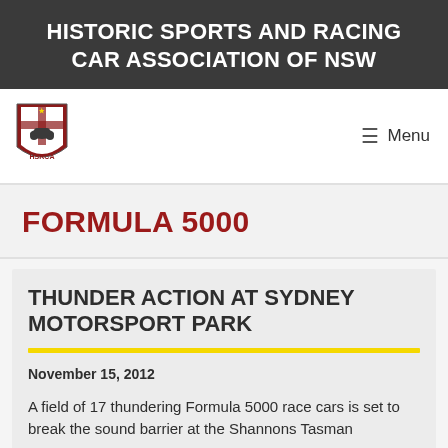HISTORIC SPORTS AND RACING CAR ASSOCIATION OF NSW
[Figure (logo): HSRCA shield/crest logo in red and yellow]
FORMULA 5000
THUNDER ACTION AT SYDNEY MOTORSPORT PARK
November 15, 2012
A field of 17 thundering Formula 5000 race cars is set to break the sound barrier at the Shannons Tasman